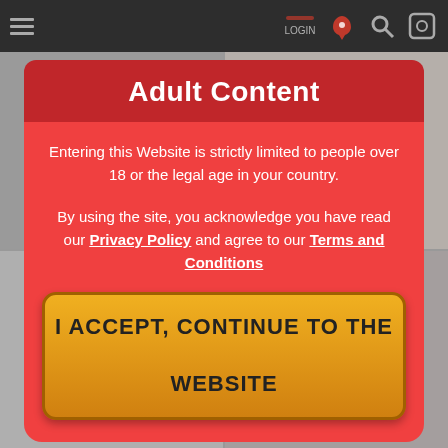[Figure (screenshot): Blurred website background with dark navigation bar at top showing hamburger menu and icons, and a blurred product image grid below]
Adult Content
Entering this Website is strictly limited to people over 18 or the legal age in your country.
By using the site, you acknowledge you have read our Privacy Policy and agree to our Terms and Conditions
I ACCEPT, CONTINUE TO THE WEBSITE